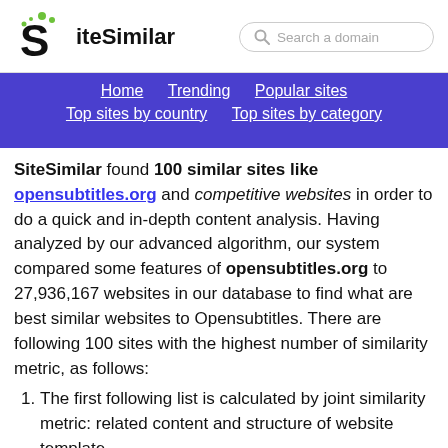SiteSimilar — Search a domain
Home | Trending | Popular sites | Top sites by country | Top sites by category
SiteSimilar found 100 similar sites like opensubtitles.org and competitive websites in order to do a quick and in-depth content analysis. Having analyzed by our advanced algorithm, our system compared some features of opensubtitles.org to 27,936,167 websites in our database to find what are best similar websites to Opensubtitles. There are following 100 sites with the highest number of similarity metric, as follows:
1. The first following list is calculated by joint similarity metric: related content and structure of website template.